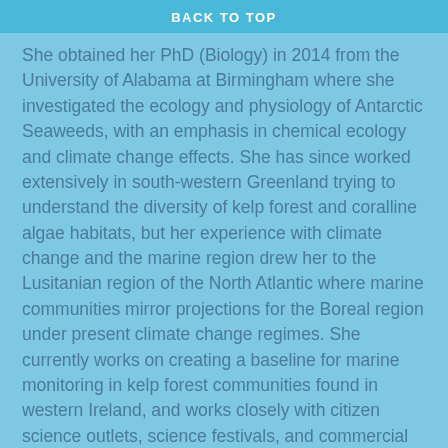BACK TO TOP
She obtained her PhD (Biology) in 2014 from the University of Alabama at Birmingham where she investigated the ecology and physiology of Antarctic Seaweeds, with an emphasis in chemical ecology and climate change effects. She has since worked extensively in south-western Greenland trying to understand the diversity of kelp forest and coralline algae habitats, but her experience with climate change and the marine region drew her to the Lusitanian region of the North Atlantic where marine communities mirror projections for the Boreal region under present climate change regimes. She currently works on creating a baseline for marine monitoring in kelp forest communities found in western Ireland, and works closely with citizen science outlets, science festivals, and commercial organisations. She is originally from California, and has studied marine ecosystems (especially those structured by seaweeds) from Antarctica to Greenland for over 15 years.